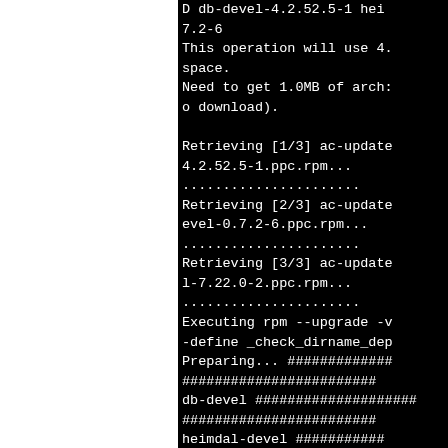[Figure (screenshot): Terminal/console output on black background showing package download and RPM upgrade commands. Left portion of screen is white (cut off). Right side shows: 'D db-devel-4.2.52.5-1 hei... 7.2-6', 'This operation will use 4.... space.', 'Need to get 1.0MB of arch... o download).', blank line, 'Retrieving [1/3] ac-update... 4.2.52.5-1.ppc.rpm...', dots line, 'Retrieving [2/3] ac-update... evel-0.7.2-6.ppc.rpm...', dots line, 'Retrieving [3/3] ac-update... l-7.22.0-2.ppc.rpm...', dots line, 'Executing rpm --upgrade -v... -define _check_dirname_dep...', 'Preparing... ###############...', '##########################', 'db-devel ####################...', '########################', 'heimdal-devel ###########...', '##########################']